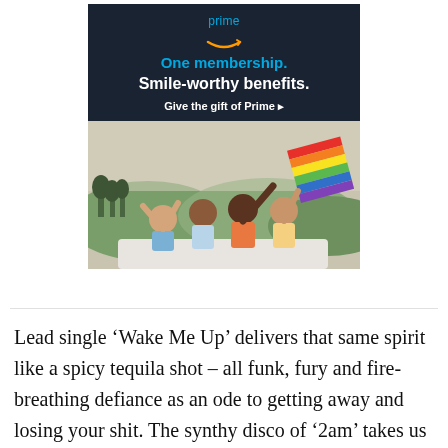[Figure (screenshot): Amazon Prime advertisement banner. Dark navy background top section with 'prime' text in blue, Amazon smile arrow logo, 'One membership.' in blue bold, 'Smile-worthy benefits.' in white bold, 'Give the gift of Prime ▸' button. Bottom section shows a photo of a diverse group of young people celebrating in a convertible car waving a rainbow pride flag against a scenic outdoor background.]
Lead single 'Wake Me Up' delivers that same spirit like a spicy tequila shot – all funk, fury and fire-breathing defiance as an ode to getting away and losing your shit. The synthy disco of '2am' takes us to those lost twilight hours after the club ("I've gone